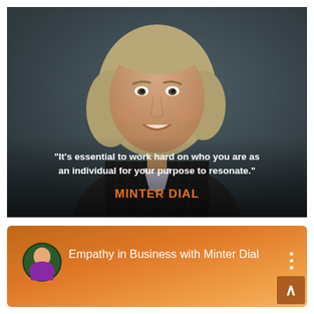[Figure (photo): Professional headshot of Minter Dial, a middle-aged man with shoulder-length grey/blonde hair, smiling, wearing a dark pinstripe suit, against a dark grey-blue background. An inspirational quote is overlaid at the bottom of the photo.]
"It's essential to work hard on who you are as an individual for your purpose to resonate."
MINTER DIAL
[Figure (screenshot): Podcast or YouTube channel card with orange gradient background. Shows a circular avatar of a man in a purple shirt, channel title 'Empathy in Business with Minter Dial', a three-dot menu icon, and an upward arrow button in the bottom right corner.]
Empathy in Business with Minter Dial